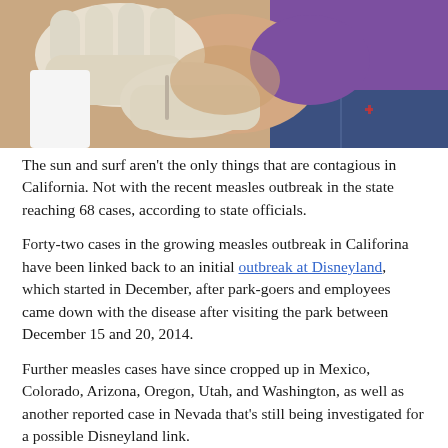[Figure (photo): Close-up photo of a gloved healthcare worker administering a vaccine injection into the upper arm of a person wearing a purple shirt and jeans.]
The sun and surf aren't the only things that are contagious in California. Not with the recent measles outbreak in the state reaching 68 cases, according to state officials.
Forty-two cases in the growing measles outbreak in Califorina have been linked back to an initial outbreak at Disneyland, which started in December, after park-goers and employees came down with the disease after visiting the park between December 15 and 20, 2014.
Further measles cases have since cropped up in Mexico, Colorado, Arizona, Oregon, Utah, and Washington, as well as another reported case in Nevada that's still being investigated for a possible Disneyland link.